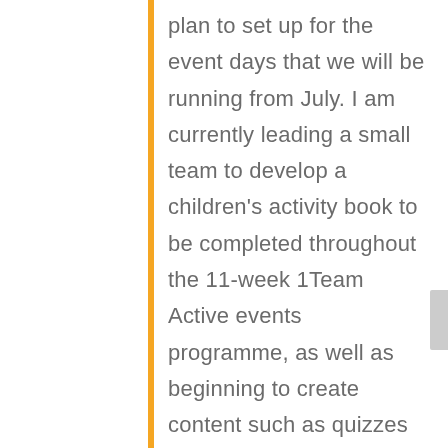plan to set up for the event days that we will be running from July. I am currently leading a small team to develop a children's activity book to be completed throughout the 11-week 1Team Active events programme, as well as beginning to create content such as quizzes and recipe cards. These will be added to our online events platform ready for participants to use during the events. Sitting in on meetings with participants and hearing their thoughts and questions has been a